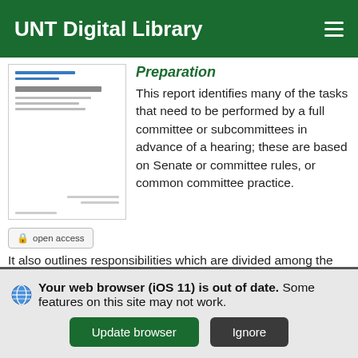UNT Digital Library
[Figure (screenshot): Thumbnail image of a document cover page with small text lines in gray and blue]
Preparation
This report identifies many of the tasks that need to be performed by a full committee or subcommittees in advance of a hearing; these are based on Senate or committee rules, or common committee practice. It also outlines responsibilities which are divided among the committee's majority staff, shared by majority and minority staff, or performed by a Senator's personal office staff, depending on the tasks.
open access
Your web browser (iOS 11) is out of date. Some features on this site may not work.